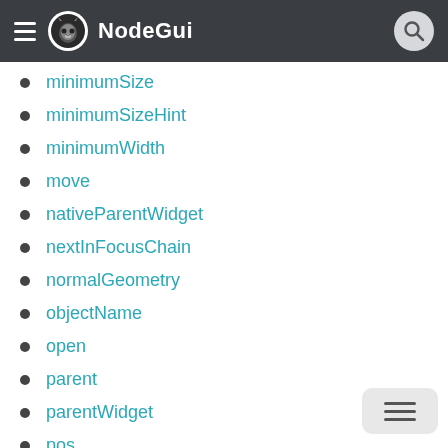NodeGui
minimumSize
minimumSizeHint
minimumWidth
move
nativeParentWidget
nextInFocusChain
normalGeometry
objectName
open
parent
parentWidget
pos
previousInFocusChain